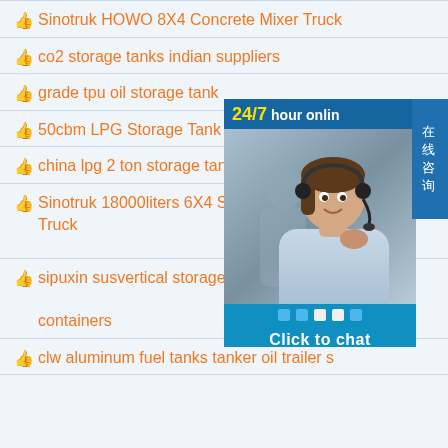Sinotruk HOWO 8X4 Concrete Mixer Truck
co2 storage tanks indian suppliers
grade tpu oil storage tank
50cbm LPG Storage Tank
china lpg 2 ton storage tank
Sinotruk 18000liters 6X4 Suction Truck
sipuxin susvertical storage tank rawor puretank containers
clw aluminum fuel tanks tanker oil trailer s
[Figure (screenshot): 24/7 hour online chat widget with customer service representative photo and 'Click to chat' button. Chinese text '在线咨询' on the right side.]